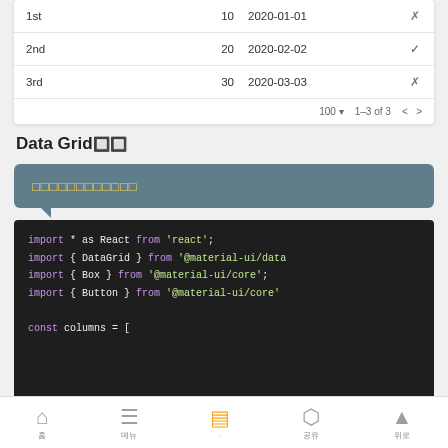|  |  |  |  |
| --- | --- | --- | --- |
| 1st | 10 | 2020-01-01 | ✗ |
| 2nd | 20 | 2020-02-02 | ✓ |
| 3rd | 30 | 2020-03-03 | ✗ |
|  |  | 100 ▾  1–3 of 3  < > |  |
Data Grid🔲🔲
[Figure (screenshot): Blue tooltip/speech bubble with Japanese characters in yellow monospace font]
[Figure (screenshot): Dark code editor showing React import statements: import * as React from 'react'; import { DataGrid } from '@material-ui/data...; import { Box } from '@material-ui/core'; import { Button } from '@material-ui/core'...; const columns = []
🏠 홈  ☰ 메뉴  📋 (active)  ⬡ 공유  ▲ 위로